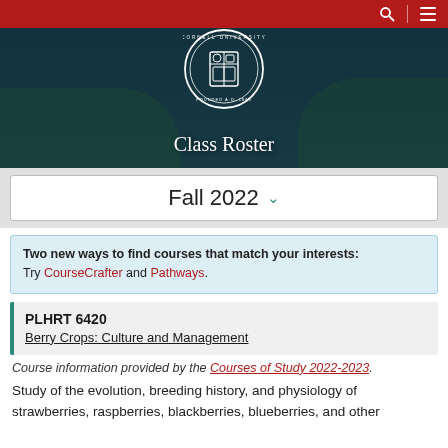[Figure (screenshot): Cornell University Class Roster website header with university seal, dark teal background, red navigation bar with search and menu icons]
Class Roster
Fall 2022
Two new ways to find courses that match your interests: Try CourseCrafter and Pathways.
PLHRT 6420 Berry Crops: Culture and Management
Course information provided by the Courses of Study 2022-2023.
Study of the evolution, breeding history, and physiology of strawberries, raspberries, blackberries, blueberries, and other